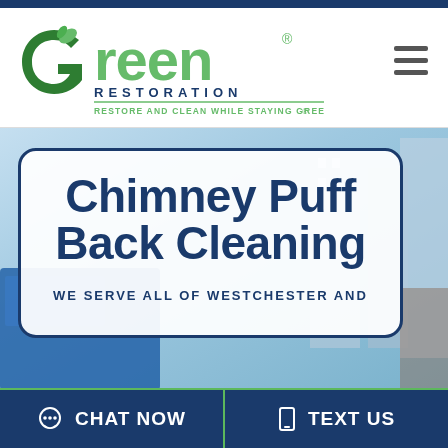[Figure (logo): Green Restoration logo with green leaf G icon, green 'reen' text, dark blue 'RESTORATION' subtext, and green tagline 'RESTORE AND CLEAN WHILE STAYING GREEN']
Chimney Puff Back Cleaning
WE SERVE ALL OF WESTCHESTER AND
CHAT NOW
TEXT US